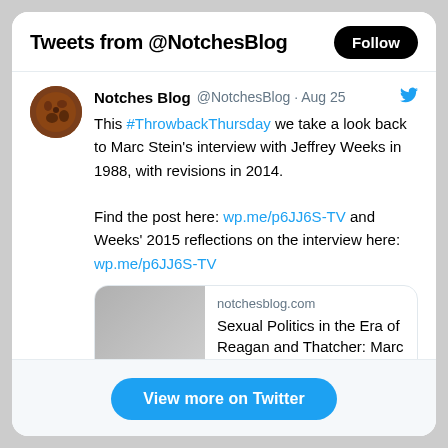Tweets from @NotchesBlog
Notches Blog @NotchesBlog · Aug 25
This #ThrowbackThursday we take a look back to Marc Stein's interview with Jeffrey Weeks in 1988, with revisions in 2014.

Find the post here: wp.me/p6JJ6S-TV and Weeks' 2015 reflections on the interview here: wp.me/p6JJ6S-TV
[Figure (screenshot): Link preview card for notchesblog.com showing 'Sexual Politics in the Era of Reagan and Thatcher: Marc ...']
3 likes